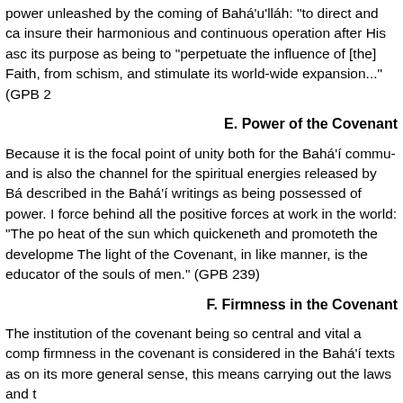power unleashed by the coming of Bahá'u'lláh: "to direct and c... insure their harmonious and continuous operation after His asc... its purpose as being to "perpetuate the influence of [the] Faith,... from schism, and stimulate its world-wide expansion..." (GPB 2...
E. Power of the Covenant
Because it is the focal point of unity both for the Bahá'í commu... and is also the channel for the spiritual energies released by Ba... described in the Bahá'í writings as being possessed of power. ... force behind all the positive forces at work in the world: "The po... heat of the sun which quickeneth and promoteth the developme... The light of the Covenant, in like manner, is the educator of the... souls of men." (GPB 239)
F. Firmness in the Covenant
The institution of the covenant being so central and vital a comp... firmness in the covenant is considered in the Bahá'í texts as on... its more general sense, this means carrying out the laws and t...